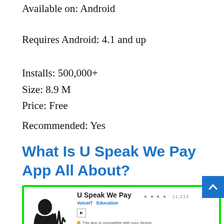Available on: Android
Requires Android: 4.1 and up
Installs: 500,000+
Size: 8.9 M
Price: Free
Recommended: Yes
What Is U Speak We Pay App All About?
[Figure (screenshot): Google Play Store listing for U Speak We Pay app by VoiceIT, Education category, showing app icon (silhouette of face with waveform), star rating, compatibility notice, Add to Wishlist button, and Install button. Screenshot has green border.]